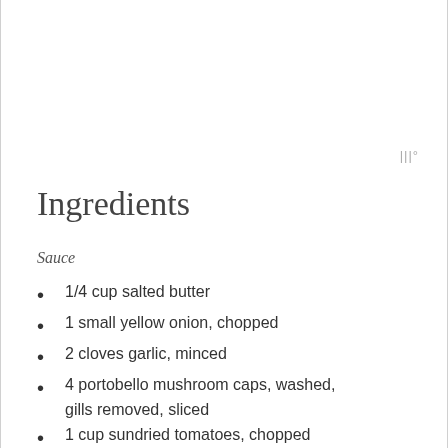Ingredients
Sauce
1/4 cup salted butter
1 small yellow onion, chopped
2 cloves garlic, minced
4 portobello mushroom caps, washed, gills removed, sliced
1 cup sundried tomatoes, chopped
1/4 cup all-purpose flour